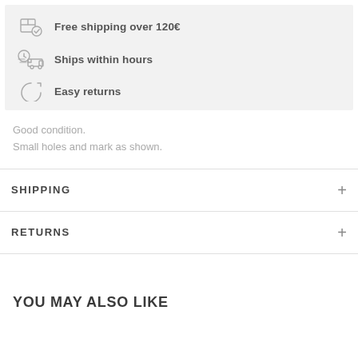Free shipping over 120€
Ships within hours
Easy returns
Good condition.
Small holes and mark as shown.
SHIPPING
RETURNS
YOU MAY ALSO LIKE